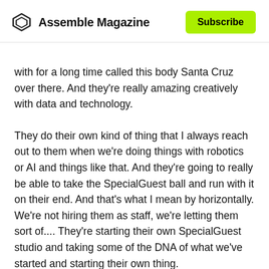Assemble Magazine  Subscribe
with for a long time called this body Santa Cruz over there. And they're really amazing creatively with data and technology.
They do their own kind of thing that I always reach out to them when we're doing things with robotics or AI and things like that. And they're going to really be able to take the SpecialGuest ball and run with it on their end. And that's what I mean by horizontally. We're not hiring them as staff, we're letting them sort of.... They're starting their own SpecialGuest studio and taking some of the DNA of what we've started and starting their own thing.
And I'm been talking to other folks that I really believe in